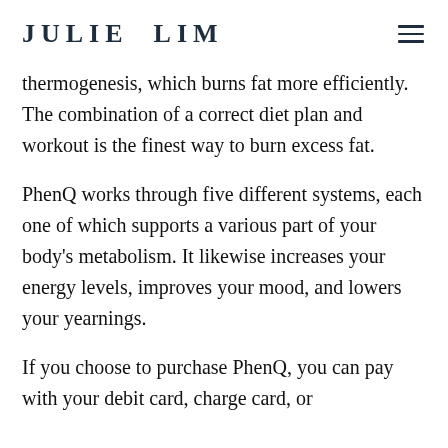JULIE LIM
thermogenesis, which burns fat more efficiently. The combination of a correct diet plan and workout is the finest way to burn excess fat.
PhenQ works through five different systems, each one of which supports a various part of your body's metabolism. It likewise increases your energy levels, improves your mood, and lowers your yearnings.
If you choose to purchase PhenQ, you can pay with your debit card, charge card, or